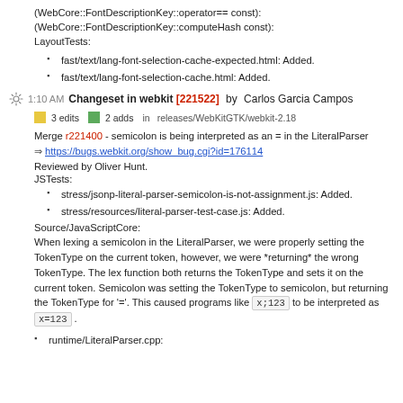(WebCore::FontDescriptionKey::operator== const):
(WebCore::FontDescriptionKey::computeHash const):
LayoutTests:
fast/text/lang-font-selection-cache-expected.html: Added.
fast/text/lang-font-selection-cache.html: Added.
1:10 AM Changeset in webkit [221522] by Carlos Garcia Campos
3 edits   2 adds   in releases/WebKitGTK/webkit-2.18
Merge r221400 - semicolon is being interpreted as an = in the LiteralParser
=> https://bugs.webkit.org/show_bug.cgi?id=176114
Reviewed by Oliver Hunt.
JSTests:
stress/jsonp-literal-parser-semicolon-is-not-assignment.js: Added.
stress/resources/literal-parser-test-case.js: Added.
Source/JavaScriptCore:
When lexing a semicolon in the LiteralParser, we were properly setting the TokenType on the current token, however, we were *returning* the wrong TokenType. The lex function both returns the TokenType and sets it on the current token. Semicolon was setting the TokenType to semicolon, but returning the TokenType for '='. This caused programs like x;123 to be interpreted as x=123 .
runtime/LiteralParser.cpp: